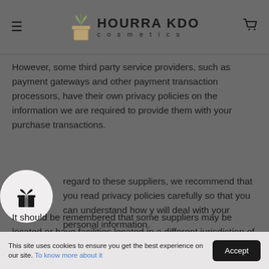HOURRA KDO cosmetics
However, some third party service providers, such as payment gateways and other payment transaction processors, have their own privacy policies on the information we are required to provide them with your purchase transactions.
regard to these suppliers, we recommend that you read privacy policies carefully so that you can understand how y will deal with your personal information.
It should be remembered that some suppliers may be located or have facilities located in a different jurisdiction of yours or ours. So if you decide to continue a transaction that requires
This site uses cookies to ensure you get the best experience on our site. To know more about it